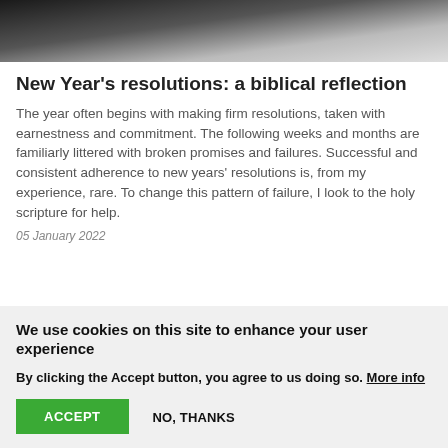[Figure (photo): Partial photograph showing a dark and light blurred background, cropped at top of page]
New Year's resolutions: a biblical reflection
The year often begins with making firm resolutions, taken with earnestness and commitment. The following weeks and months are familiarly littered with broken promises and failures. Successful and consistent adherence to new years' resolutions is, from my experience, rare. To change this pattern of failure, I look to the holy scripture for help.
05 January 2022
We use cookies on this site to enhance your user experience
By clicking the Accept button, you agree to us doing so. More info